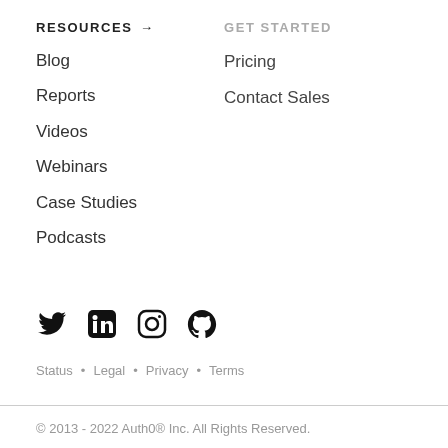RESOURCES →
GET STARTED
Blog
Pricing
Reports
Contact Sales
Videos
Webinars
Case Studies
Podcasts
[Figure (illustration): Social media icons: Twitter, LinkedIn, Instagram, GitHub]
Status • Legal • Privacy • Terms
© 2013 - 2022 Auth0® Inc. All Rights Reserved.